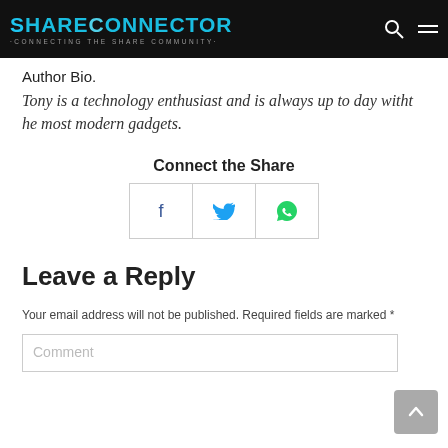ShareConnector — Connecting the Share Community
Author Bio.
Tony is a technology enthusiast and is always up to day witht he most modern gadgets.
Connect the Share
[Figure (other): Social share buttons: Facebook, Twitter, WhatsApp]
Leave a Reply
Your email address will not be published. Required fields are marked *
Comment